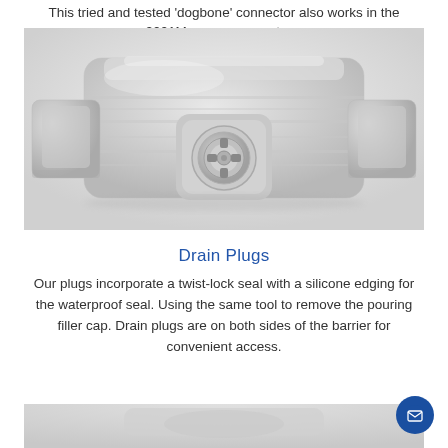This tried and tested 'dogbone' connector also works in the 2001M corner connectors.
[Figure (photo): Close-up 3D render of a corner connector component showing a twist-lock drain plug mechanism in the center, with rectangular side tabs on left and right, rendered in light gray with soft shading.]
Drain Plugs
Our plugs incorporate a twist-lock seal with a silicone edging for the waterproof seal. Using the same tool to remove the pouring filler cap. Drain plugs are on both sides of the barrier for convenient access.
[Figure (photo): Partial view of another product component at the bottom of the page, light gray colored.]